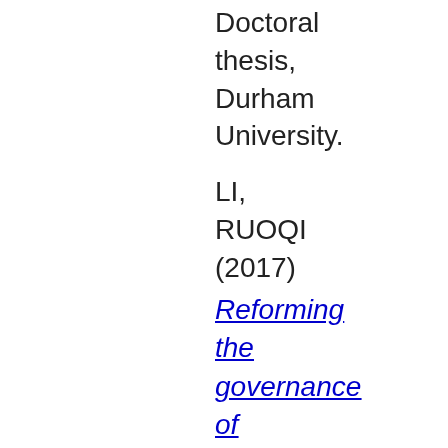Doctoral thesis, Durham University.
LI, RUOQI (2017)
Reforming the governance of Chinese non-profits: a comparative analysis based on the UK's